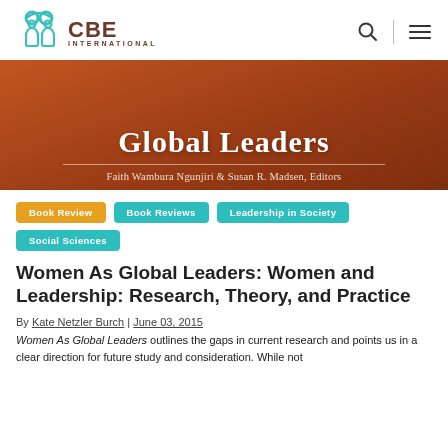CBE INTERNATIONAL
[Figure (photo): Book cover showing 'Global Leaders' title text on brown/rust colored background with editors Faith Wambura Ngunjiri & Susan R. Madsen listed]
Book Review
Book Reviews
Leadership in Society
Social Sciences
Women As Global Leaders: Women and Leadership: Research, Theory, and Practice
By Kate Netzler Burch | June 03, 2015
Women As Global Leaders outlines the gaps in current research and points us in a clear direction for future study and consideration. While not